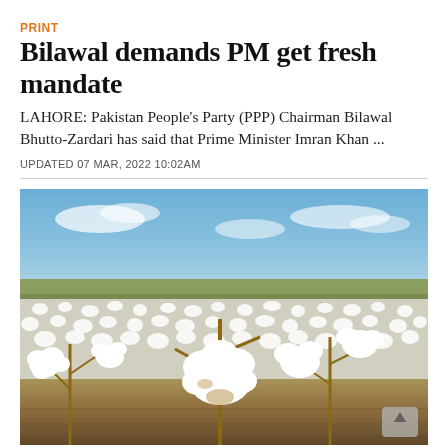PRINT
Bilawal demands PM get fresh mandate
LAHORE: Pakistan People's Party (PPP) Chairman Bilawal Bhutto-Zardari has said that Prime Minister Imran Khan ...
UPDATED 07 MAR, 2022 10:02AM
[Figure (photo): A cotton field with white cotton bolls open on branches, blue sky in background, wide field of cotton plants extending to the horizon.]
MARKETS